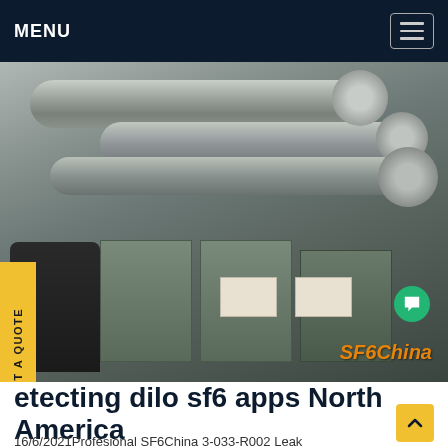MENU
[Figure (photo): Industrial SF6 gas equipment / transformer with large cylindrical pipes and metal enclosures in a facility. A person in dark clothing is visible on the left. A watermark 'SF6China' appears in the lower right of the image.]
etecting dilo sf6 apps North America
16/6/2021Profesional SF6China 3-033-R002 Leak